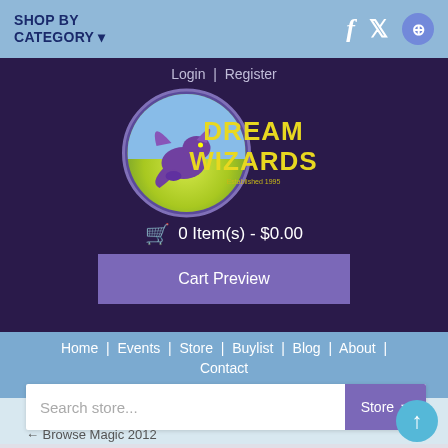SHOP BY CATEGORY
Login | Register
[Figure (logo): Dream Wizards logo: purple dragon in circular badge with yellow 'Dream Wizards' text]
0 Item(s) - $0.00
Cart Preview
Home | Events | Store | Buylist | Blog | About | Contact
Search store...
← Browse Magic 2012